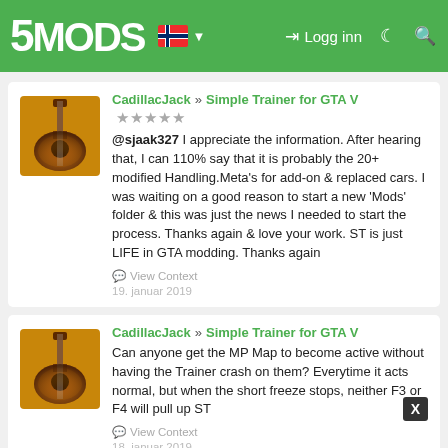5MODS — Logg inn
CadillacJack » Simple Trainer for GTA V ★★★★★
@sjaak327 I appreciate the information. After hearing that, I can 110% say that it is probably the 20+ modified Handling.Meta's for add-on & replaced cars. I was waiting on a good reason to start a new 'Mods' folder & this was just the news I needed to start the process. Thanks again & love your work. ST is just LIFE in GTA modding. Thanks again
View Context
19. januar 2019
CadillacJack » Simple Trainer for GTA V
Can anyone get the MP Map to become active without having the Trainer crash on them? Everytime it acts normal, but when the short freeze stops, neither F3 or F4 will pull up ST
View Context
18. januar 2019